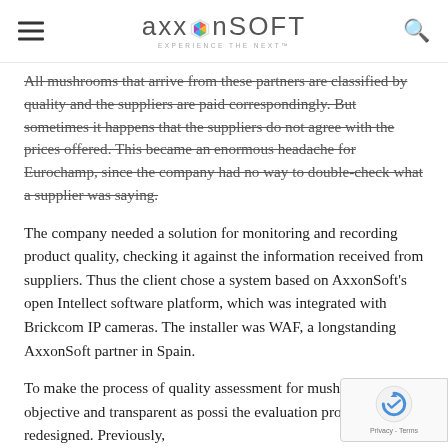AxxonSoft — Experience The Next
All mushrooms that arrive from these partners are classified by quality and the suppliers are paid correspondingly. But sometimes it happens that the suppliers do not agree with the prices offered. This became an enormous headache for Eurochamp, since the company had no way to double-check what a supplier was saying.
The company needed a solution for monitoring and recording product quality, checking it against the information received from suppliers. Thus the client chose a system based on AxxonSoft's open Intellect software platform, which was integrated with Brickcom IP cameras. The installer was WAF, a longstanding AxxonSoft partner in Spain.
To make the process of quality assessment for mushrooms as objective and transparent as possi the evaluation procedure was redesigned. Previously,